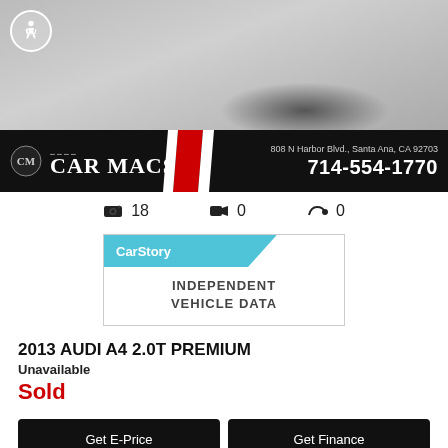[Figure (photo): Car photo showing front/wheel area of a silver Audi, with accessibility icon overlay]
[Figure (logo): Car Macs dealer banner with logo, address 808 N Harbor Blvd., Santa Ana, CA 92703 and phone 714-554-1770]
🔷 18   🎥 0   🖐 0
[Figure (infographic): CarStory badge - INDEPENDENT VEHICLE DATA]
2013 AUDI A4 2.0T PREMIUM
Unavailable
Sold
Get E-Price
Get Finance
Test Drive
Email Us
Make An Offer